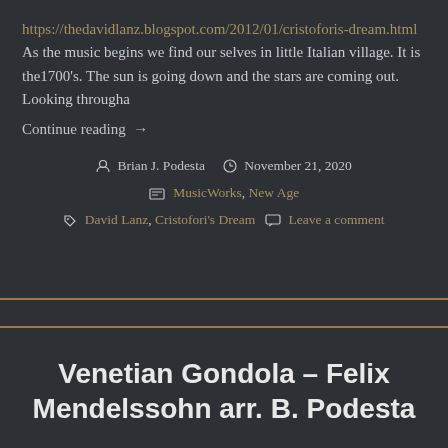https://thedavidlanz.blogspot.com/2012/01/cristoforis-dream.html As the music begins we find our selves in little Italian village. It is the1700's. The sun is going down and the stars are coming out. Looking througha
Continue reading →
Author: Brian J. Podesta  Date: November 21, 2020  Categories: MusicWorks, New Age  Tags: David Lanz, Cristofori's Dream  Leave a comment
Venetian Gondola – Felix Mendelssohn arr. B. Podesta